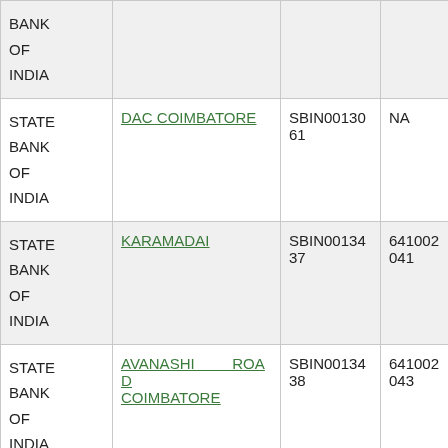| Bank | Branch | IFSC | MICR |
| --- | --- | --- | --- |
| STATE BANK OF INDIA |  |  |  |
| STATE BANK OF INDIA | DAC COIMBATORE | SBIN0013061 | NA |
| STATE BANK OF INDIA | KARAMADAI | SBIN0013437 | 641002041 |
| STATE BANK OF INDIA | AVANASHI ROAD COIMBATORE | SBIN0013438 | 641002043 |
| STATE BANK OF INDIA | PERUR | SBIN0013442 | 641002042 |